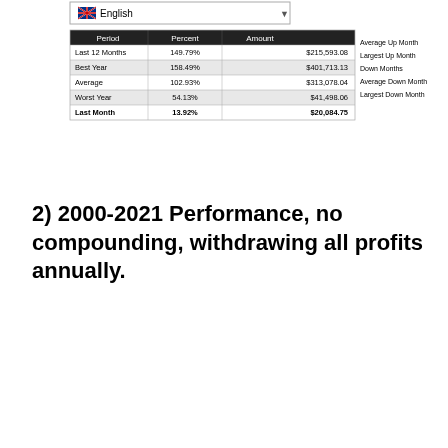[Figure (screenshot): A screenshot of a trading/investment platform showing a language selector (English with UK flag) and two data tables. Left table shows performance periods: Last 12 Months (149.79%, $215,593.08), Best Year (158.49%, $401,713.13), Average (102.93%, $313,078.04), Worst Year (54.13%, $41,498.06), Last Month (13.92%, $20,084.75). Middle section shows up/down month stats and amounts including $61,756.46, $68,579.71, $137,866.80, and negative values ($28,783.47), ($43,647.82). Right side shows numbered rows with Japanese Yen, Dollar Index, Bitcoin, and Crude Oil instruments.]
2) 2000-2021 Performance, no compounding, withdrawing all profits annually.